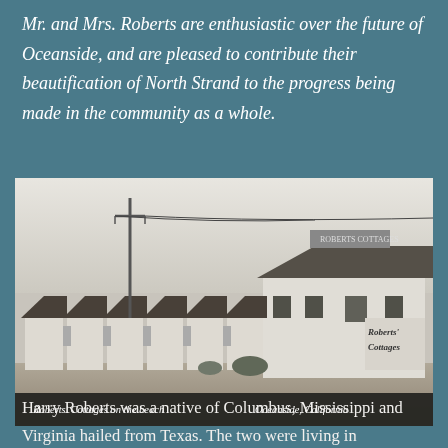Mr. and Mrs. Roberts are enthusiastic over the future of Oceanside, and are pleased to contribute their beautification of North Strand to the progress being made in the community as a whole.
[Figure (photo): Black and white photograph of Roberts Cottages on the beach, Oceanside, California. Shows a row of white cottage buildings with dark roofs along a beachfront. A utility pole is visible on the left. A sign reading 'Roberts Cottages' is visible on the rightmost building. Caption at bottom reads: Roberts' Cottages on the beach   Oceanside, California]
Harry Roberts was a native of Columbus, Mississippi and Virginia hailed from Texas. The two were living in